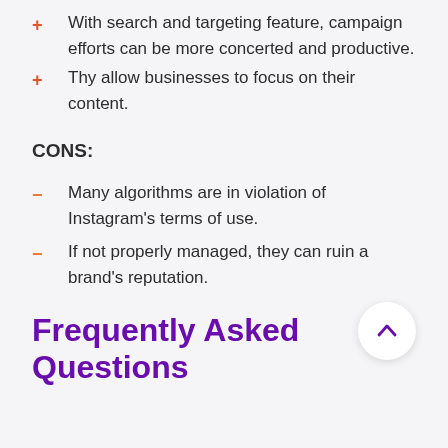With search and targeting feature, campaign efforts can be more concerted and productive.
Thy allow businesses to focus on their content.
CONS:
Many algorithms are in violation of Instagram's terms of use.
If not properly managed, they can ruin a brand's reputation.
Frequently Asked Questions